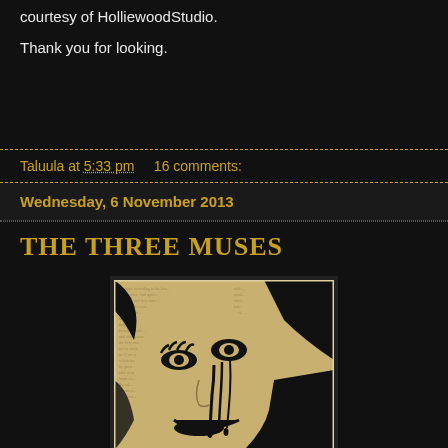courtesy of HolliewoodStudio.
Thank you for looking.
Taluula at 5:33 pm     16 comments:
Wednesday, 6 November 2013
THE THREE MUSES
[Figure (illustration): Black and white pop-art style illustration of a woman's face printed over newsprint/text background, with dramatic mascara drips/tears running down from her eyes.]